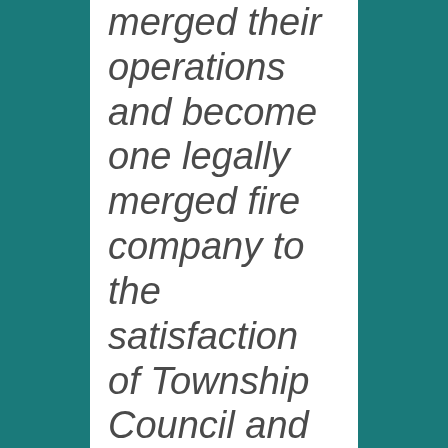merged their operations and become one legally merged fire company to the satisfaction of Township Council and under Pennsylvani...